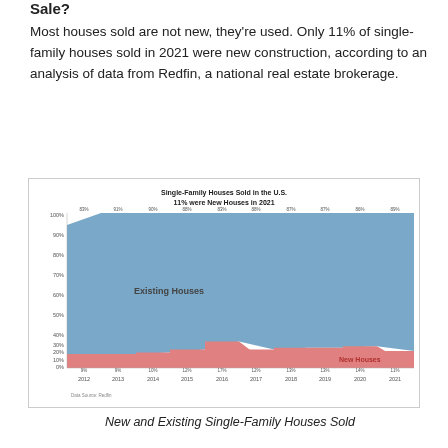Sale?
Most houses sold are not new, they're used. Only 11% of single-family houses sold in 2021 were new construction, according to an analysis of data from Redfin, a national real estate brokerage.
[Figure (stacked-bar-chart): Single-Family Houses Sold in the U.S. 11% were New Houses in 2021]
New and Existing Single-Family Houses Sold